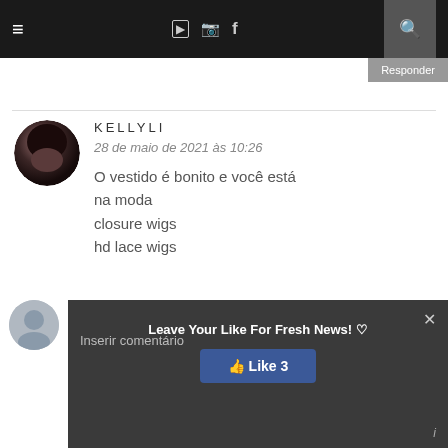☰  YouTube Instagram f 🔍
Responder
KELLYLI
28 de maio de 2021 às 10:26
O vestido é bonito e você está na moda
closure wigs
hd lace wigs
Responder
Leave Your Like For Fresh News! ♡
👍 Like 3
Inserir comentário